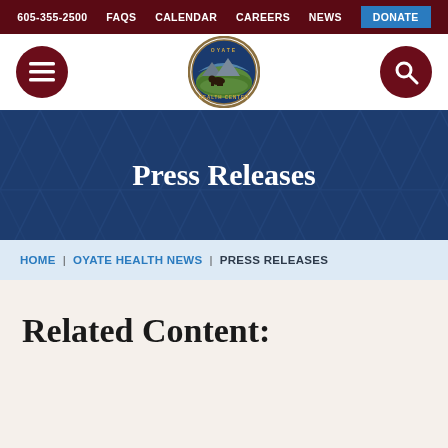605-355-2500  FAQS  CALENDAR  CAREERS  NEWS  DONATE
[Figure (logo): Oyate Health Center circular logo with landscape scene]
Press Releases
HOME | OYATE HEALTH NEWS | PRESS RELEASES
Related Content: